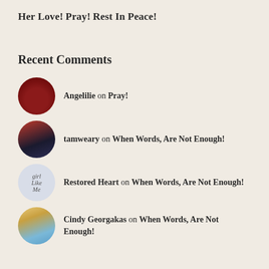Her Love!
Pray!
Rest In Peace!
Recent Comments
Angelilie on Pray!
tamweary on When Words, Are Not Enough!
Restored Heart on When Words, Are Not Enough!
Cindy Georgakas on When Words, Are Not Enough!